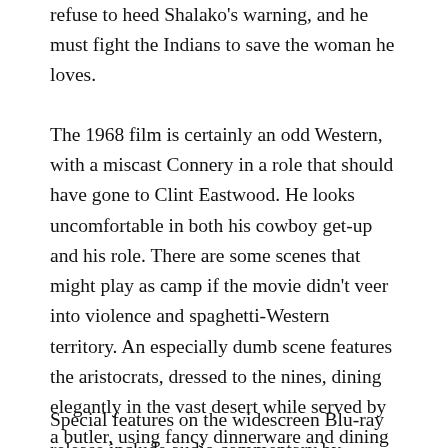refuse to heed Shalako's warning, and he must fight the Indians to save the woman he loves.
The 1968 film is certainly an odd Western, with a miscast Connery in a role that should have gone to Clint Eastwood. He looks uncomfortable in both his cowboy get-up and his role. There are some scenes that might play as camp if the movie didn't veer into violence and spaghetti-Western territory. An especially dumb scene features the aristocrats, dressed to the nines, dining elegantly in the vast desert while served by a butler, using fancy dinnerware and dining on fancy food. Ms. Bardot is lovely, but isn't much of an actress. The supporting cast includes Stephen Boyd, Jack Hawkins, Honor Blackman, and Alexander Knox.
Special features on the widescreen Blu-ray release include audio commentary by filmmaker Alex Cox, and a